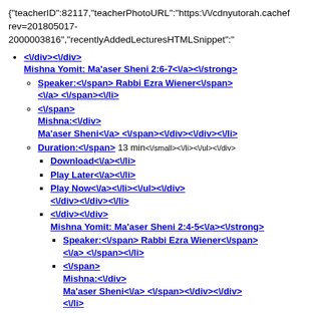{"teacherID":82117,"teacherPhotoURL":"https:\/\/cdnyutorah.cachef rev=201805017-2000003816","recentlyAddedLecturesHTMLSnippet":"
</div></div> Mishna Yomit: Ma'aser Sheni 2:6-7</a></strong>
Speaker:</span> Rabbi Ezra Wiener</span> </a> </span></li>
</span> Mishna:</div> Ma'aser Sheni</a> </span></div></div></li>
Duration:</span> 13 min</small></li></ul></div>
Download</a></li>
Play Later</a></li>
Play Now</a></li></ul></div> </div></div></li>
</div></div> Mishna Yomit: Ma'aser Sheni 2:4-5</a></strong>
Speaker:</span> Rabbi Ezra Wiener</span> </a> </span></li>
</span> Mishna:</div> Ma'aser Sheni</a> </span></div></div> </li>
Duration:</span> 14 min</small></li></ul> </div>
Download</a></li>